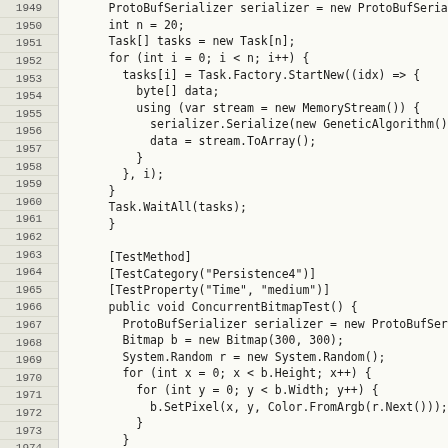[Figure (screenshot): Source code listing showing C# code lines 1949-1975. Code includes ProtoBufSerializer usage, Task parallel operations, TestMethod attributes, and ConcurrentBitmapTest method with Bitmap pixel setting logic.]